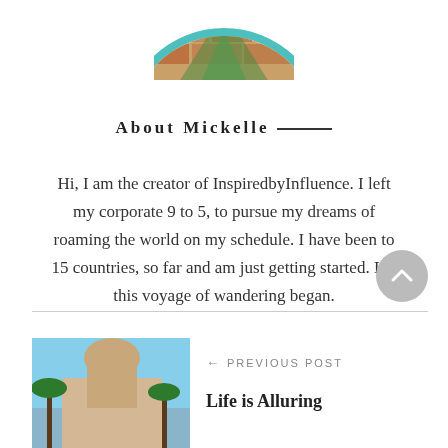[Figure (photo): Circular profile photo with teal border showing a colorful building/mural scene, partially cropped at top]
About Mickelle ——
Hi, I am the creator of InspiredbyInfluence. I left my corporate 9 to 5, to pursue my dreams of roaming the world on my schedule. I have been to 15 countries, so far and am just getting started. Let this voyage of wandering began.
[Figure (other): Gray circular back-to-top button with upward chevron icon]
[Figure (photo): Thumbnail photo showing palm trees and a building with blue sky, for the previous post]
← PREVIOUS POST
Life is Alluring